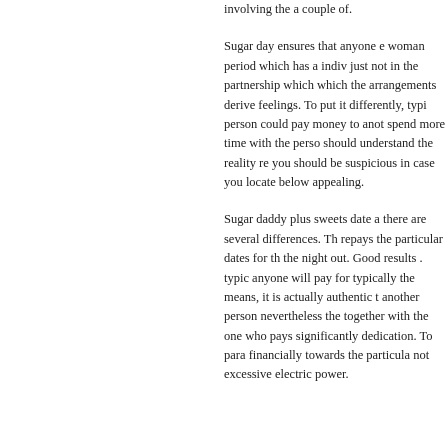involving the a couple of.
Sugar day ensures that anyone e woman period which has a indiv just not in the partnership which which the arrangements derive feelings. To put it differently, typi person could pay money to anot spend more time with the perso should understand the reality re you should be suspicious in case you locate below appealing.
Sugar daddy plus sweets date a there are several differences. Th repays the particular dates for th the night out. Good results . typic anyone will pay for typically the means, it is actually authentic t another person nevertheless the together with the one who pays significantly dedication. To para financially towards the particula not excessive electric power.